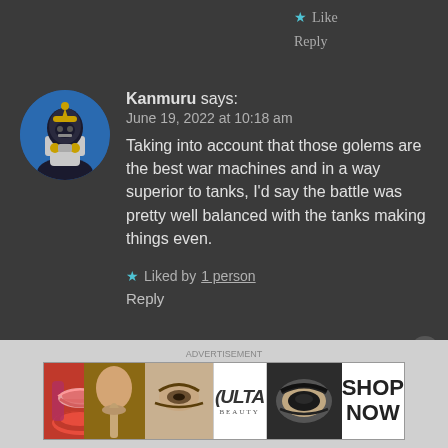★ Like
Reply
[Figure (photo): Circular avatar image of a Power Ranger character in black and gold armor holding a weapon, on blue background]
Kanmuru says:
June 19, 2022 at 10:18 am
Taking into account that those golems are the best war machines and in a way superior to tanks, I'd say the battle was pretty well balanced with the tanks making things even.
★ Liked by 1 person
Reply
[Figure (screenshot): ULTA Beauty advertisement banner with makeup images showing lips, brush, eye, ULTA logo, eye closeup, and SHOP NOW button]